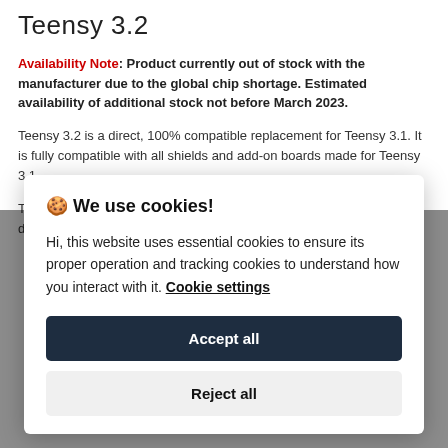Teensy 3.2
Availability Note: Product currently out of stock with the manufacturer due to the global chip shortage. Estimated availability of additional stock not before March 2023.
Teensy 3.2 is a direct, 100% compatible replacement for Teensy 3.1. It is fully compatible with all shields and add-on boards made for Teensy 3.1
The main change is an improved 3.3V regulator, to allow Teensy to directly power ESP8266 Wifi, WIZ820io (W5200) Ethernet, and other
🍪 We use cookies!
Hi, this website uses essential cookies to ensure its proper operation and tracking cookies to understand how you interact with it. Cookie settings
Accept all
Reject all